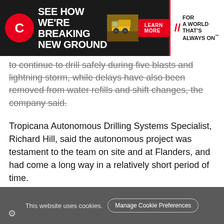[Figure (other): Cummins advertisement banner with yellow mining truck. Headline: SEE HOW WE'RE BREAKING NEW GROUND. Red LEARN MORE button. Tagline: FOR A WORLD THAT'S ALWAYS ON]
to continue to drill safely during five blasts and lightning storm, while delays have also been removed from water refills and shift changes, the company said.
Tropicana Autonomous Drilling Systems Specialist, Richard Hill, said the autonomous project was testament to the team on site and at Flanders, and had come a long way in a relatively short period of time.
One person (drill controller) can operate up to five rigs from the one console located in the administration building at Tropicana with the automated rigs supported by two ground crew on the pit floor. To date, up to three rigs have been operated from the one console.
This website uses cookies. Manage Cookie Preferences